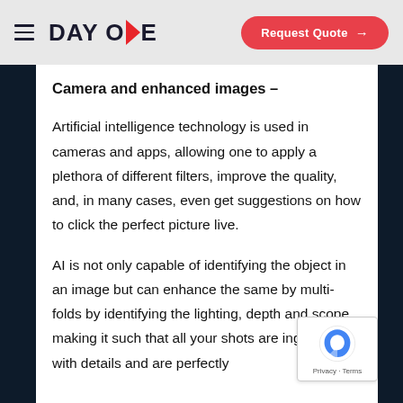DAY ONE | Request Quote →
Camera and enhanced images –
Artificial intelligence technology is used in cameras and apps, allowing one to apply a plethora of different filters, improve the quality, and, in many cases, even get suggestions on how to click the perfect picture live.
AI is not only capable of identifying the object in an image but can enhance the same by multi-folds by identifying the lighting, depth and scope, making it such that all your shots are ingrained with details and are perfectly